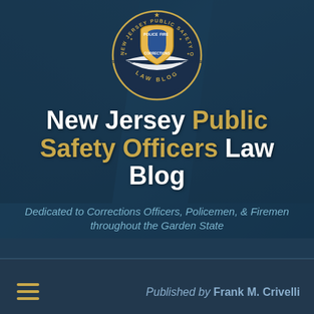[Figure (logo): New Jersey Public Safety Officers Law Blog circular badge/seal with police badge center, NJ state shape, stars, and text reading POLICE, FIRE, CORRECTIONS, LAW BLOG around perimeter]
New Jersey Public Safety Officers Law Blog
Dedicated to Corrections Officers, Policemen, & Firemen throughout the Garden State
Published by Frank M. Crivelli